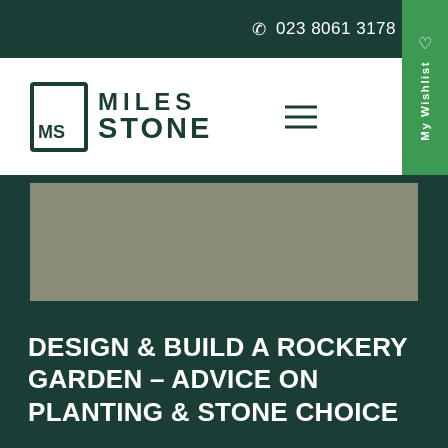023 8061 3178
[Figure (logo): Miles Stone logo with MS square bracket icon and MILES STONE text in dark teal]
[Figure (photo): Gray hero image placeholder area]
DESIGN & BUILD A ROCKERY GARDEN – ADVICE ON PLANTING & STONE CHOICE